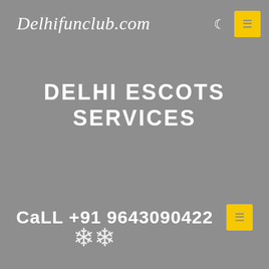Delhifunclub.com
DELHI ESCOTS SERVICES
CaLL +91 9643090422